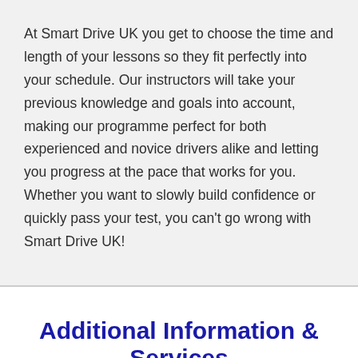At Smart Drive UK you get to choose the time and length of your lessons so they fit perfectly into your schedule. Our instructors will take your previous knowledge and goals into account, making our programme perfect for both experienced and novice drivers alike and letting you progress at the pace that works for you. Whether you want to slowly build confidence or quickly pass your test, you can't go wrong with Smart Drive UK!
Additional Information & Services